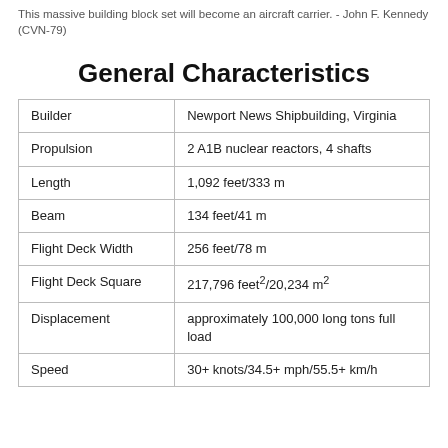This massive building block set will become an aircraft carrier. - John F. Kennedy (CVN-79)
General Characteristics
|  |  |
| --- | --- |
| Builder | Newport News Shipbuilding, Virginia |
| Propulsion | 2 A1B nuclear reactors, 4 shafts |
| Length | 1,092 feet/333 m |
| Beam | 134 feet/41 m |
| Flight Deck Width | 256 feet/78 m |
| Flight Deck Square | 217,796 feet²/20,234 m² |
| Displacement | approximately 100,000 long tons full load |
| Speed | 30+ knots/34.5+ mph/55.5+ km/h |